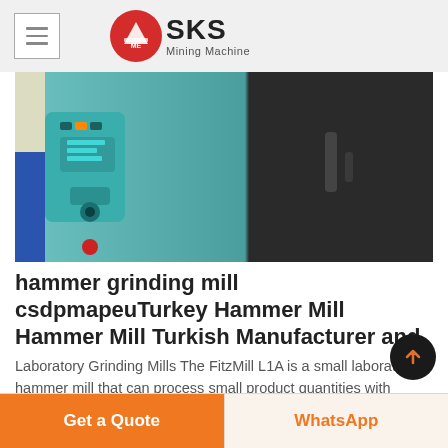SKS Mining Machine
[Figure (photo): Close-up photo of a teal/green electric drill or grinding tool held by a person wearing a light-colored glove, positioned next to a dark metal surface]
hammer grinding mill csdpmapeuTurkey Hammer Mill Hammer Mill Turkish Manufacturer and
Laboratory Grinding Mills The FitzMill L1A is a small laboratory hammer mill that can process small product quantities with minimal product lossHammer Mill Turkish Hammer Mill Turkey Hammer Mill Manufacturers/Suppliers and Exporters Directory High Quality Hammer Mill fr
Get a Quote   WhatsApp